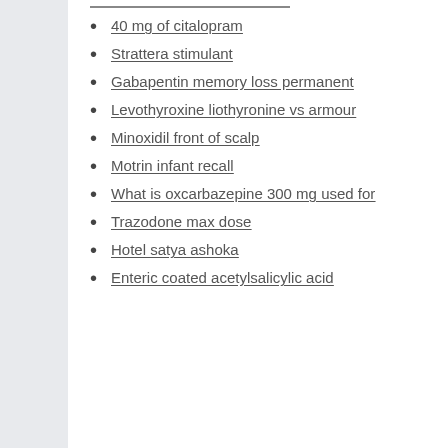40 mg of citalopram
Strattera stimulant
Gabapentin memory loss permanent
Levothyroxine liothyronine vs armour
Minoxidil front of scalp
Motrin infant recall
What is oxcarbazepine 300 mg used for
Trazodone max dose
Hotel satya ashoka
Enteric coated acetylsalicylic acid